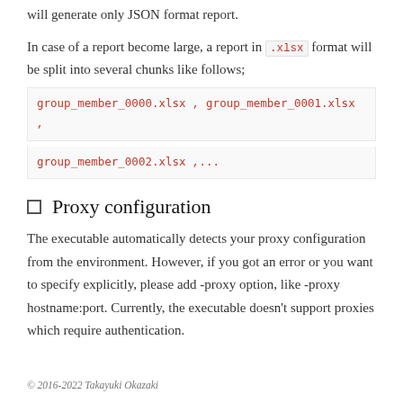will generate only JSON format report.
In case of a report become large, a report in .xlsx format will be split into several chunks like follows;
Proxy configuration
The executable automatically detects your proxy configuration from the environment. However, if you got an error or you want to specify explicitly, please add -proxy option, like -proxy hostname:port. Currently, the executable doesn't support proxies which require authentication.
© 2016-2022 Takayuki Okazaki